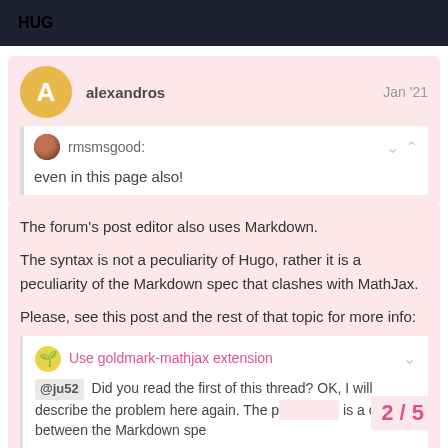HUG
alexandros   Jan '21
rmsmsgood:
even in this page also!
The forum's post editor also uses Markdown.

The syntax is not a peculiarity of Hugo, rather it is a peculiarity of the Markdown spec that clashes with MathJax.

Please, see this post and the rest of that topic for more info:
Use goldmark-mathjax extension
@ju52 Did you read the first of this thread? OK, I will describe the problem here again. The p is a conflict between the Markdown spe
2 / 5